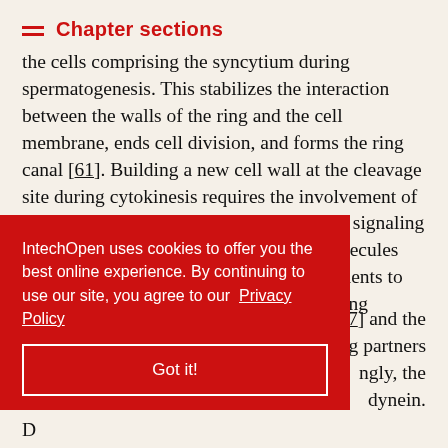Chapter sections
the cells comprising the syncytium during spermatogenesis. This stabilizes the interaction between the walls of the ring and the cell membrane, ends cell division, and forms the ring canal [61]. Building a new cell wall at the cleavage site during cytokinesis requires the involvement of components of the cell membrane and the signaling molecules [69]. A system of transport molecules ensures the delivery of the necessary elements to the region where the cell membrane is being formed [70
[27] and the ng partners ngly, the dynein.
IntechOpen uses cookies to offer you the best online experience. By continuing to use our site, you agree to our Privacy Policy
Got it!
D...